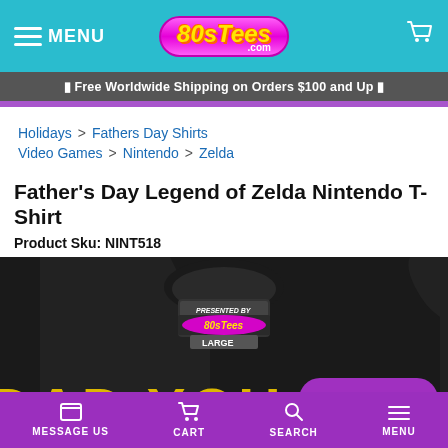MENU | 80sTees.com | Cart
⬛ Free Worldwide Shipping on Orders $100 and Up ⬛
Holidays > Fathers Day Shirts
Video Games > Nintendo > Zelda
Father's Day Legend of Zelda Nintendo T-Shirt
Product Sku: NINT518
[Figure (photo): Black t-shirt with 80sTees label at collar and yellow text 'DAD YOU A...' visible at bottom]
Chat with us
MESSAGE US | CART | SEARCH | MENU